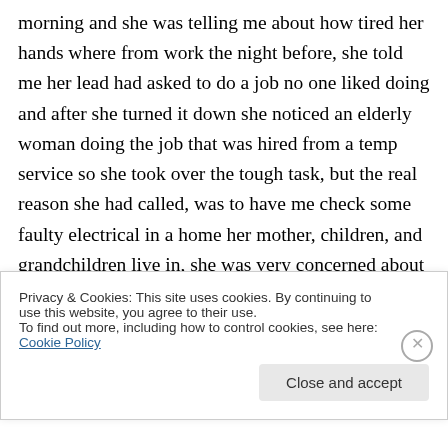morning and she was telling me about how tired her hands where from work the night before, she told me her lead had asked to do a job no one liked doing and after she turned it down she noticed an elderly woman doing the job that was hired from a temp service so she took over the tough task, but the real reason she had called, was to have me check some faulty electrical in a home her mother, children, and grandchildren live in, she was very concerned about something happening in the home while her family was
Privacy & Cookies: This site uses cookies. By continuing to use this website, you agree to their use.
To find out more, including how to control cookies, see here: Cookie Policy